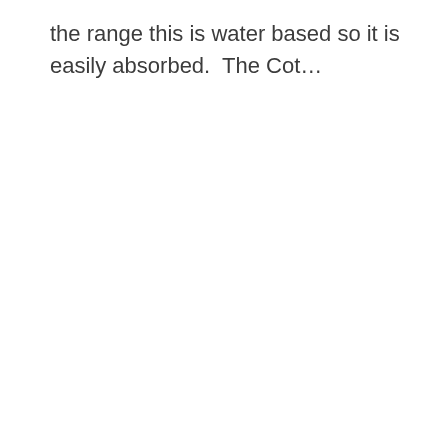the range this is water based so it is easily absorbed.  The Cot…